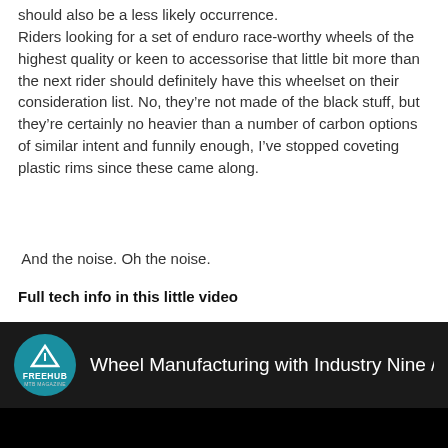should also be a less likely occurrence.
Riders looking for a set of enduro race-worthy wheels of the highest quality or keen to accessorise that little bit more than the next rider should definitely have this wheelset on their consideration list. No, they’re not made of the black stuff, but they’re certainly no heavier than a number of carbon options of similar intent and funnily enough, I’ve stopped coveting plastic rims since these came along.
And the noise. Oh the noise.
Full tech info in this little video
[Figure (screenshot): Embedded video player showing a Freehub Magazine video titled 'Wheel Manufacturing with Industry Nine // Mad...' with a black background and the Freehub logo (teal circle with triangle icon) on the left.]